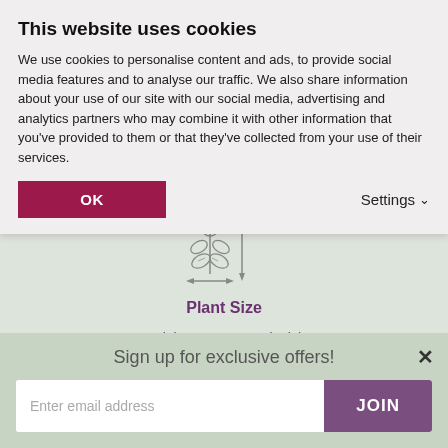This website uses cookies
We use cookies to personalise content and ads, to provide social media features and to analyse our traffic. We also share information about your use of our site with our social media, advertising and analytics partners who may combine it with other information that you've provided to them or that they've collected from your use of their services.
OK
Settings ∨
[Figure (illustration): Line drawing icon of a plant with measurement arrows showing height and width]
Plant Size
Height Up To 40cm (16in)
Spread Up To 30cm (12in)
Sign up for exclusive offers!
Enter email address
JOIN